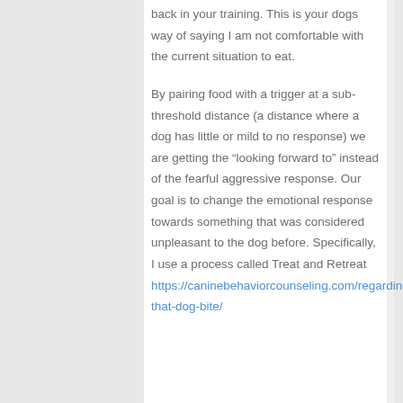back in your training. This is your dogs way of saying I am not comfortable with the current situation to eat.
By pairing food with a trigger at a sub-threshold distance (a distance where a dog has little or mild to no response) we are getting the “looking forward to” instead of the fearful aggressive response. Our goal is to change the emotional response towards something that was considered unpleasant to the dog before. Specifically, I use a process called Treat and Retreat https://caninebehaviorcounseling.com/regarding-that-dog-bite/